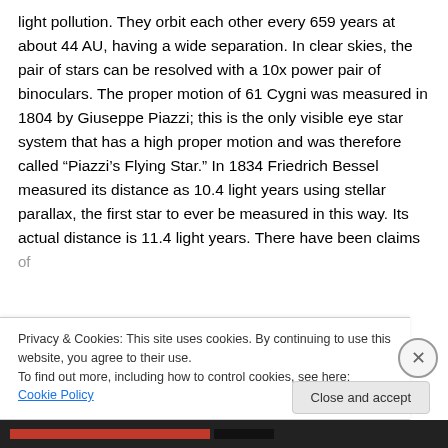light pollution. They orbit each other every 659 years at about 44 AU, having a wide separation. In clear skies, the pair of stars can be resolved with a 10x power pair of binoculars. The proper motion of 61 Cygni was measured in 1804 by Giuseppe Piazzi; this is the only visible eye star system that has a high proper motion and was therefore called “Piazzi’s Flying Star.” In 1834 Friedrich Bessel measured its distance as 10.4 light years using stellar parallax, the first star to ever be measured in this way. Its actual distance is 11.4 light years. There have been claims of...
Privacy & Cookies: This site uses cookies. By continuing to use this website, you agree to their use.
To find out more, including how to control cookies, see here: Cookie Policy